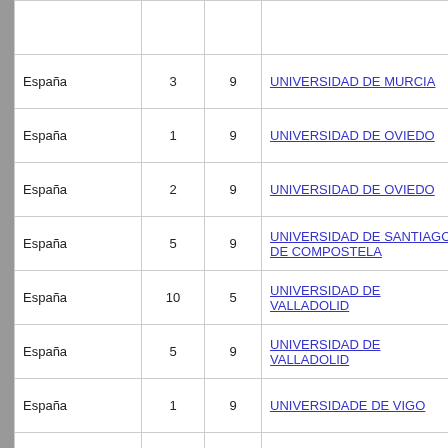| Country | Col1 | Col2 | University | PDF |
| --- | --- | --- | --- | --- |
| España | 3 | 9 | UNIVERSIDAD DE MURCIA | [pdf] |
| España | 1 | 9 | UNIVERSIDAD DE OVIEDO | [pdf] |
| España | 2 | 9 | UNIVERSIDAD DE OVIEDO | [pdf] |
| España | 5 | 9 | UNIVERSIDAD DE SANTIAGO DE COMPOSTELA | [pdf] |
| España | 10 | 5 | UNIVERSIDAD DE VALLADOLID | [pdf] |
| España | 5 | 9 | UNIVERSIDAD DE VALLADOLID | [pdf] |
| España | 1 | 9 | UNIVERSIDADE DE VIGO | [pdf] |
| España | 1 | 9 | UNIVERSIDADE DE VIGO | [pdf] |
| España | 2 | 6 | UNIVERSIDADE DE VIGO | [pdf] |
| España | 3 | 9 | UNIVERSITAT DE VALÈNCIA (ESTUDI GENERAL) | [pdf] |
| España | 2 | 5 | UNIVERSITAT JAUME I | [pdf] |
| España | 2 | 5 | UNIVERSITAT ROVIRA I VIRGILI | [pdf] |
| Estaxi... | 1 | 9 | TARTU ÜLIKOOL | [pdf] |